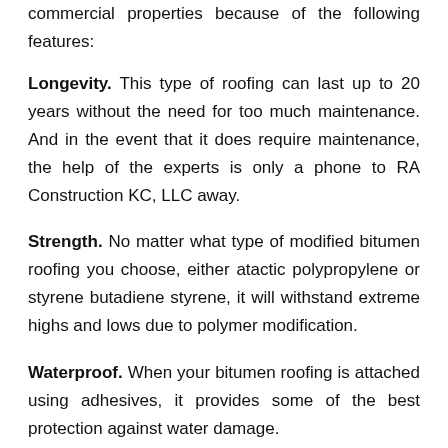commercial properties because of the following features:
Longevity. This type of roofing can last up to 20 years without the need for too much maintenance. And in the event that it does require maintenance, the help of the experts is only a phone to RA Construction KC, LLC away.
Strength. No matter what type of modified bitumen roofing you choose, either atactic polypropylene or styrene butadiene styrene, it will withstand extreme highs and lows due to polymer modification.
Waterproof. When your bitumen roofing is attached using adhesives, it provides some of the best protection against water damage.
Energy efficiency. This type of roofing material has a built-in insulating layer that limits the flow of heat throughout the